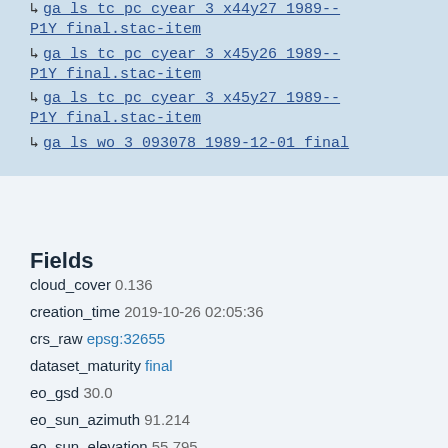↳ ga_ls_tc_pc_cyear_3_x44y27_1989--P1Y_final.stac-item
↳ ga_ls_tc_pc_cyear_3_x45y26_1989--P1Y_final.stac-item
↳ ga_ls_tc_pc_cyear_3_x45y27_1989--P1Y_final.stac-item
↳ ga_ls_wo_3_093078_1989-12-01_final
Fields
cloud_cover 0.136
creation_time 2019-10-26 02:05:36
crs_raw epsg:32655
dataset_maturity final
eo_gsd 30.0
eo_sun_azimuth 91.214
eo_sun_elevation 55.795
fmask_clear 00.778